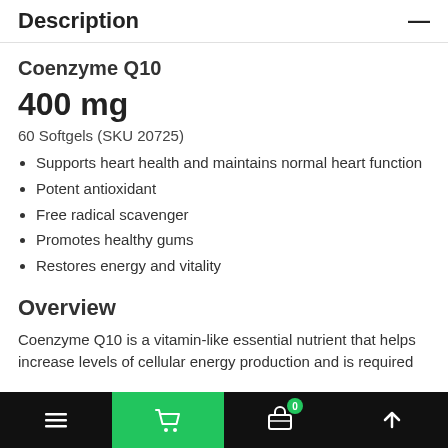Description
Coenzyme Q10
400 mg
60 Softgels (SKU 20725)
Supports heart health and maintains normal heart function
Potent antioxidant
Free radical scavenger
Promotes healthy gums
Restores energy and vitality
Overview
Coenzyme Q10 is a vitamin-like essential nutrient that helps increase levels of cellular energy production and is required